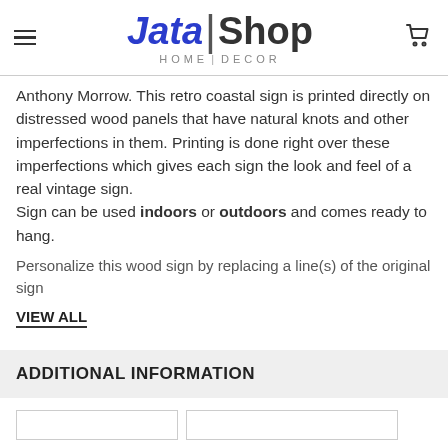Jata|Shop HOME|DECOR
Anthony Morrow. This retro coastal sign is printed directly on distressed wood panels that have natural knots and other imperfections in them. Printing is done right over these imperfections which gives each sign the look and feel of a real vintage sign.
Sign can be used indoors or outdoors and comes ready to hang.
Personalize this wood sign by replacing a line(s) of the original sign
VIEW ALL
ADDITIONAL INFORMATION